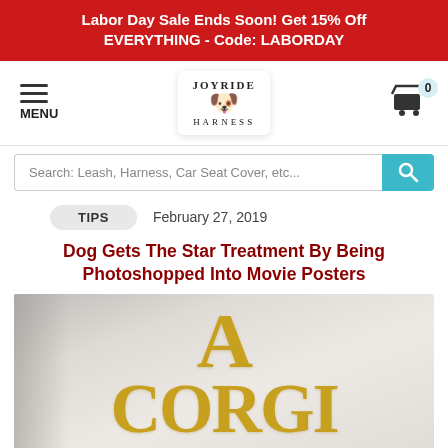Labor Day Sale Ends Soon! Get 15% Off EVERYTHING - Code: LABORDAY
[Figure (logo): Joyride Harness logo — pug dog with glasses, text JOYRIDE HARNESS]
MENU
Search: Leash, Harness, Car Seat Cover, etc...
TIPS   February 27, 2019
Dog Gets The Star Treatment By Being Photoshopped Into Movie Posters
[Figure (photo): Parody movie poster with golden text reading 'A CORGI IS' with subtitle 'MAXINE THE FLUFFY CORGI' and a corgi dog silhouette at the bottom, styled after 'A Star Is Born']